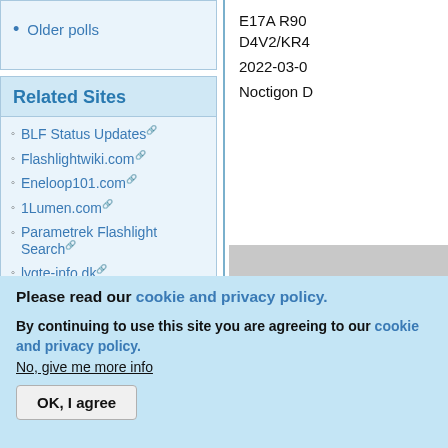Older polls
Related Sites
BLF Status Updates
Flashlightwiki.com
Eneloop101.com
1Lumen.com
Parametrek Flashlight Search
lygte-info.dk
ZeroAir.org
Fonarevka.ru
WebDelinternas.es
E17A R90 D4V2/KR4
2022-03-0
Noctigon D
[Figure (photo): Partial view of a flashlight product, green/olive colored cylindrical body with metal components visible]
Please read our cookie and privacy policy.
By continuing to use this site you are agreeing to our cookie and privacy policy. No, give me more info
OK, I agree